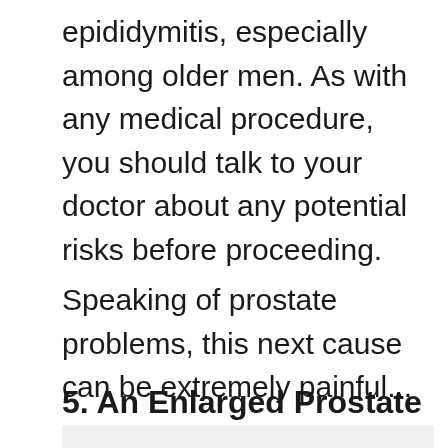epididymitis, especially among older men. As with any medical procedure, you should talk to your doctor about any potential risks before proceeding.
Speaking of prostate problems, this next cause can be extremely painful...
5. An Enlarged Prostate
[Figure (other): Grey shaded box at the bottom of the page, partially visible]